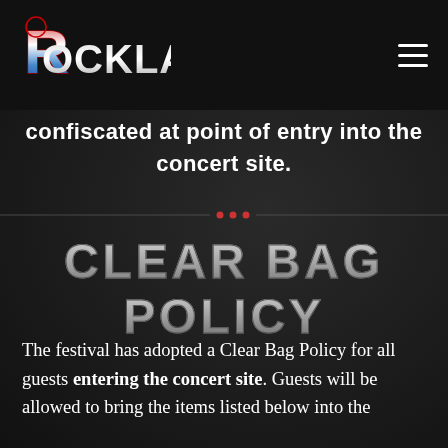[Figure (logo): Rocklahoma festival logo in metallic red/blue/silver lettering]
confiscated at point of entry into the concert site.
CLEAR BAG POLICY
The festival has adopted a Clear Bag Policy for all guests entering the concert site. Guests will be allowed to bring the items listed below into the